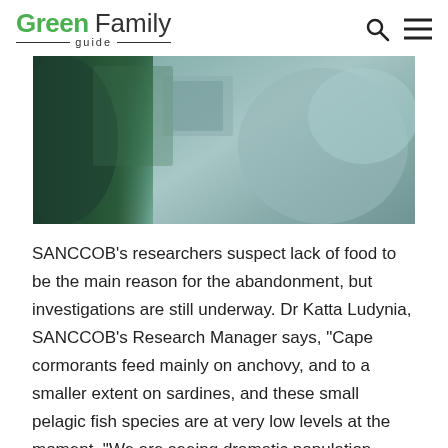Green Family guide
[Figure (photo): Partial view of a person in a grey top, likely a researcher or wildlife worker, handling something out of frame. Background shows blurred green and teal tones.]
SANCCOB’s researchers suspect lack of food to be the main reason for the abandonment, but investigations are still underway. Dr Katta Ludynia, SANCCOB’s Research Manager says, “Cape cormorants feed mainly on anchovy, and to a smaller extent on sardines, and these small pelagic fish species are at very low levels at the moment. “We are seeing dramatic population declines in all seabird species that rely on these fish species: the African penguin, the Cape gannet and the Cape cormorant are all